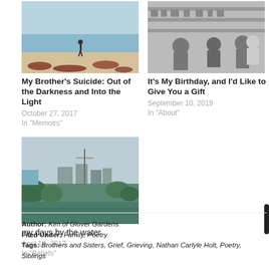[Figure (photo): Beach scene with a person standing in shallow water, red seaweed on the sand]
My Brother's Suicide: Out of the Darkness and Into the Light
October 27, 2017
In "Memoirs"
[Figure (photo): Black and white photo of children at what appears to be a store or event]
It's My Birthday, and I'd Like to Give You a Gift
September 10, 2019
In "About"
[Figure (photo): Waterway with buildings and vegetation, hazy sky]
my days by the water
April 19, 2017
In "Beliefs"
Author: Kim of Glover Gardens
Filed Under: Family, Poetry
Tags: Brothers and Sisters, Grief, Grieving, Nathan Carlyle Holt, Poetry, Siblings